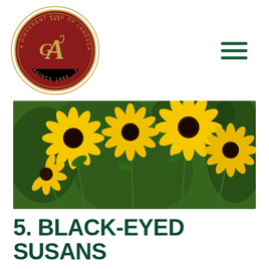[Figure (logo): Circular logo with dark red/maroon background, gold letters A, G in center, text reading 'A DIFFERENT KIND OF LANDSCAPE CONTRACTOR' around the ring, 'SINCE 1984' at bottom]
[Figure (photo): Close-up photograph of yellow black-eyed Susan flowers (Rudbeckia) with dark brown centers against a blurred green background]
5. BLACK-EYED SUSANS